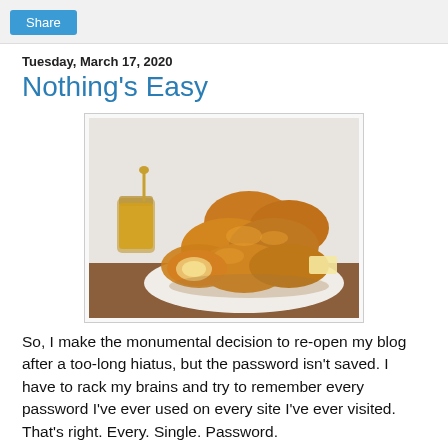Share
Tuesday, March 17, 2020
Nothing's Easy
[Figure (photo): Photo of golden honey-glazed biscuits or rolls piled on a white surface with a glass honey jar and honey dipper in the background]
So, I make the monumental decision to re-open my blog after a too-long hiatus, but the password isn't saved. I have to rack my brains and try to remember every password I've ever used on every site I've ever visited. That's right. Every. Single. Password.
Then I realize that I've only ever used three different passwords... and one of them is "password123"... so it's not